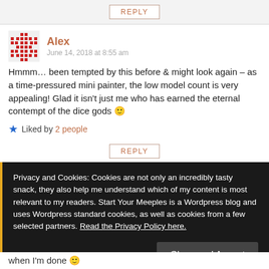REPLY
Alex
June 14, 2018 at 8:55 am
Hmmm… been tempted by this before & might look again – as a time-pressured mini painter, the low model count is very appealing! Glad it isn't just me who has earned the eternal contempt of the dice gods 🙂
Liked by 2 people
REPLY
Privacy and Cookies: Cookies are not only an incredibly tasty snack, they also help me understand which of my content is most relevant to my readers. Start Your Meeples is a Wordpress blog and uses Wordpress standard cookies, as well as cookies from a few selected partners. Read the Privacy Policy here.
Close and Accept
when I'm done 🙂